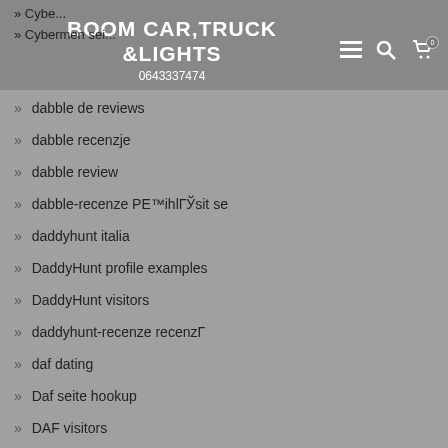BOOM CAR,TRUCK &LIGHTS 0643337474
dabble de review
dabble de reviews
dabble recenzje
dabble review
dabble-recenze PЕ™ihlГЎsit se
daddyhunt italia
DaddyHunt profile examples
DaddyHunt visitors
daddyhunt-recenze recenzГ
daf dating
Daf seite hookup
DAF visitors